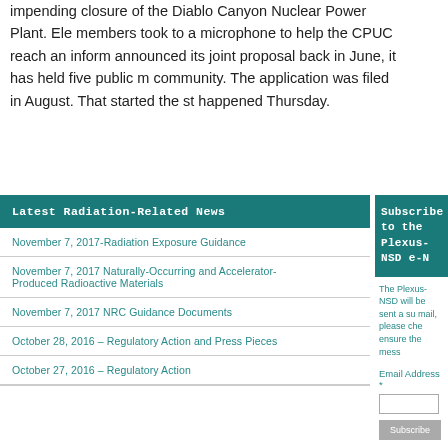impending closure of the Diablo Canyon Nuclear Power Plant. Ele members took to a microphone to help the CPUC reach an inform announced its joint proposal back in June, it has held five public m community. The application was filed in August. That started the st happened Thursday.
Latest Radiation-Related News
November 7, 2017-Radiation Exposure Guidance
November 7, 2017 Naturally-Occurring and Accelerator-Produced Radioactive Materials
November 7, 2017 NRC Guidance Documents
October 28, 2016 – Regulatory Action and Press Pieces
October 27, 2016 – Regulatory Action
Subscribe to the Plexus-NSD e-N
The Plexus-NSD will be sent a su mail, please che ensure the mess
Email Address *
Subscribe